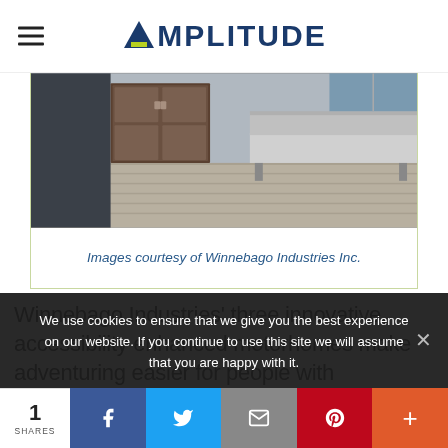AMPLITUDE
[Figure (photo): Interior of a Winnebago motorhome showing accessible living space with wood cabinetry, gray flooring, and a bench/storage area.]
Images courtesy of Winnebago Industries Inc.
Winnebago Industries’ three innovative, accessibility enhanced motorhomes make adventuring easier for people with disabilities and their service animals. Winnebago’s Inte…
We use cookies to ensure that we give you the best experience on our website. If you continue to use this site we will assume that you are happy with it.